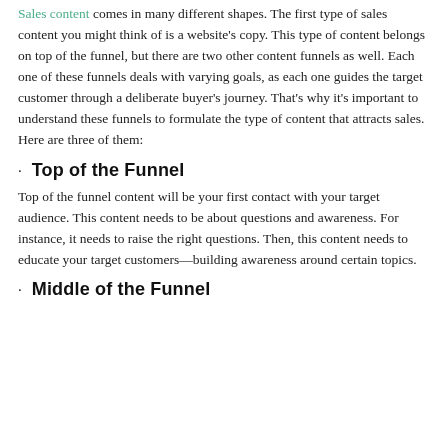Sales content comes in many different shapes. The first type of sales content you might think of is a website's copy. This type of content belongs on top of the funnel, but there are two other content funnels as well. Each one of these funnels deals with varying goals, as each one guides the target customer through a deliberate buyer's journey. That's why it's important to understand these funnels to formulate the type of content that attracts sales. Here are three of them:
Top of the Funnel
Top of the funnel content will be your first contact with your target audience. This content needs to be about questions and awareness. For instance, it needs to raise the right questions. Then, this content needs to educate your target customers—building awareness around certain topics.
Middle of the Funnel